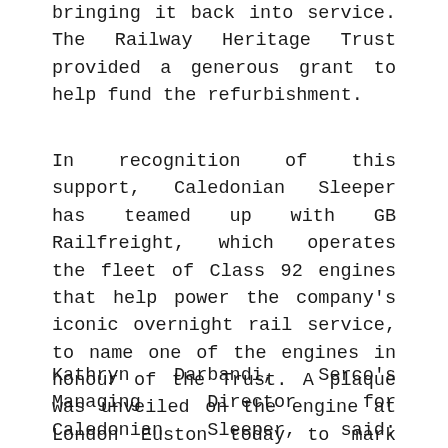bringing it back into service. The Railway Heritage Trust provided a generous grant to help fund the refurbishment.
In recognition of this support, Caledonian Sleeper has teamed up with GB Railfreight, which operates the fleet of Class 92 engines that help power the company's iconic overnight rail service, to name one of the engines in honour of the Trust. A plaque was unveiled on the engine at London Euston today to mark the occasion.
Kathryn Darbandi, Serco's Managing Director for Caledonian Sleeper, said: “We’re honoured to be naming